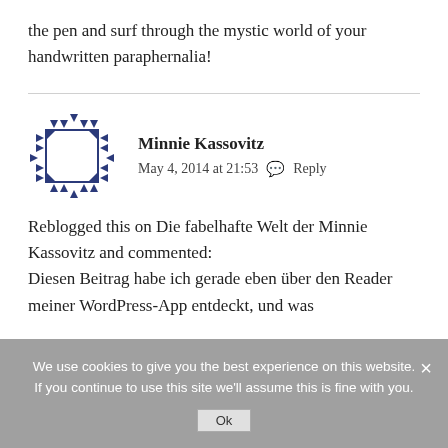the pen and surf through the mystic world of your handwritten paraphernalia!
Minnie Kassovitz
May 4, 2014 at 21:53  Reply
Reblogged this on Die fabelhafte Welt der Minnie Kassovitz and commented:
Diesen Beitrag habe ich gerade eben über den Reader meiner WordPress-App entdeckt, und was
We use cookies to give you the best experience on this website. If you continue to use this site we'll assume this is fine with you.
Ok